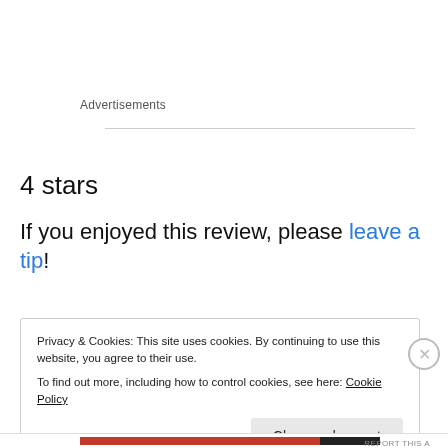Advertisements
4 stars
If you enjoyed this review, please leave a tip!
Privacy & Cookies: This site uses cookies. By continuing to use this website, you agree to their use.
To find out more, including how to control cookies, see here: Cookie Policy
Close and accept